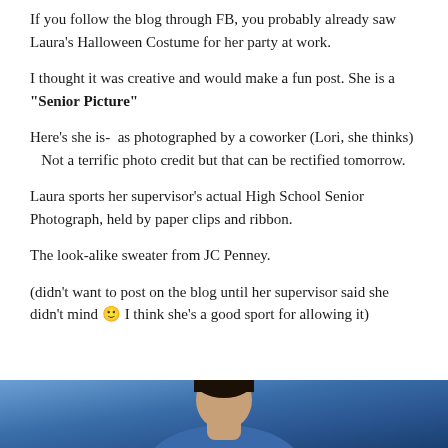If you follow the blog through FB, you probably already saw Laura's Halloween Costume for her party at work.
I thought it was creative and would make a fun post. She is a "Senior Picture"
Here's she is- as photographed by a coworker (Lori, she thinks) Not a terrific photo credit but that can be rectified tomorrow.
Laura sports her supervisor's actual High School Senior Photograph, held by paper clips and ribbon.
The look-alike sweater from JC Penney.
(didn't want to post on the blog until her supervisor said she didn't mind 🙂 I think she's a good sport for allowing it)
[Figure (photo): Bottom portion of a photo showing a person dressed in a Halloween costume, blue background visible]